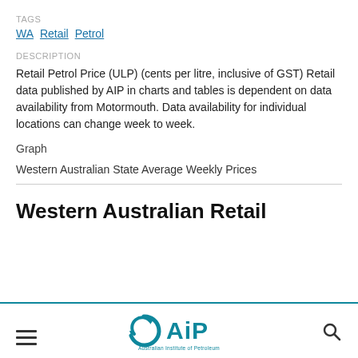TAGS
WA Retail Petrol
DESCRIPTION
Retail Petrol Price (ULP) (cents per litre, inclusive of GST) Retail data published by AIP in charts and tables is dependent on data availability from Motormouth. Data availability for individual locations can change week to week.
Graph
Western Australian State Average Weekly Prices
Western Australian Retail
[Figure (logo): Australian Institute of Petroleum (AIP) logo with stylized circular arrow icon and text 'Australian Institute of Petroleum']